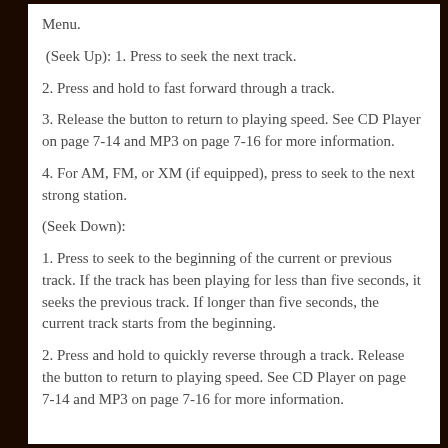Menu.
(Seek Up): 1. Press to seek the next track.
2. Press and hold to fast forward through a track.
3. Release the button to return to playing speed. See CD Player on page 7-14 and MP3 on page 7-16 for more information.
4. For AM, FM, or XM (if equipped), press to seek to the next strong station.
(Seek Down):
1. Press to seek to the beginning of the current or previous track. If the track has been playing for less than five seconds, it seeks the previous track. If longer than five seconds, the current track starts from the beginning.
2. Press and hold to quickly reverse through a track. Release the button to return to playing speed. See CD Player on page 7-14 and MP3 on page 7-16 for more information.